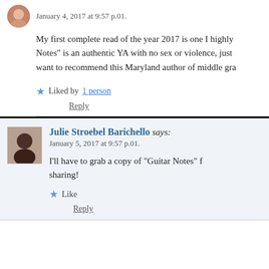January 4, 2017 at 9:57 p.01.
My first complete read of the year 2017 is one I highly Notes” is an authentic YA with no sex or violence, just want to recommend this Maryland author of middle gra
Liked by 1 person
Reply
Julie Stroebel Barichello says:
January 5, 2017 at 9:57 p.01.
I’ll have to grab a copy of “Guitar Notes” f sharing!
Like
Reply